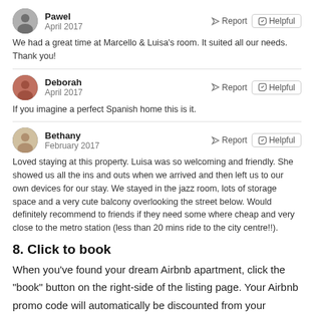Pawel
April 2017
We had a great time at Marcello & Luisa's room. It suited all our needs. Thank you!
Deborah
April 2017
If you imagine a perfect Spanish home this is it.
Bethany
February 2017
Loved staying at this property. Luisa was so welcoming and friendly. She showed us all the ins and outs when we arrived and then left us to our own devices for our stay. We stayed in the jazz room, lots of storage space and a very cute balcony overlooking the street below. Would definitely recommend to friends if they need some where cheap and very close to the metro station (less than 20 mins ride to the city centre!!).
8. Click to book
When you've found your dream Airbnb apartment, click the "book" button on the right-side of the listing page. Your Airbnb promo code will automatically be discounted from your booking. You'll see the discount applied on the right hand column. Remember to get your £50 off Airbnb Amersham voucher code before booking.